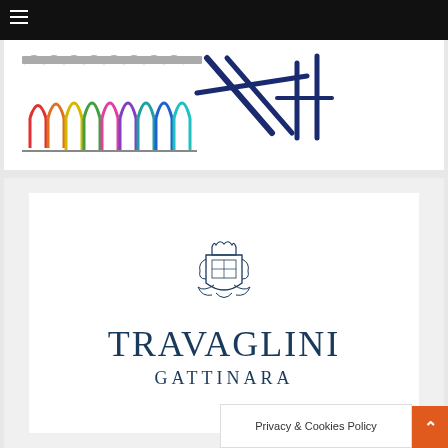[Figure (logo): Colored arched arcade logo with dark blue diagonal brush stroke signature mark]
[Figure (logo): Travaglini Gattinara wine label with heraldic crest above the text TRAVAGLINI in large serif letters and GATTINARA in smaller spaced capitals]
Privacy & Cookies Policy